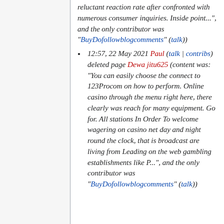reluctant reaction rate after confronted with numerous consumer inquiries. Inside point...", and the only contributor was "BuyDofollowblogcomments" (talk))
12:57, 22 May 2021 Paul (talk | contribs) deleted page Dewa jitu625 (content was: "You can easily choose the connect to 123Procom on how to perform. Online casino through the menu right here, there clearly was reach for many equipment. Go for. All stations In Order To welcome wagering on casino net day and night round the clock, that is broadcast are living from Leading on the web gambling establishments like P...", and the only contributor was "BuyDofollowblogcomments" (talk))